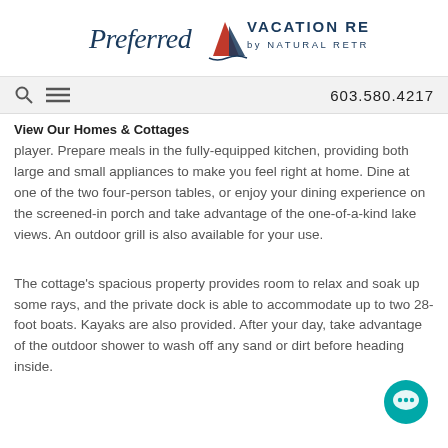[Figure (logo): Preferred Vacation Rentals by Natural Retreats logo with sailboat graphic]
603.580.4217
View Our Homes & Cottages
player. Prepare meals in the fully-equipped kitchen, providing both large and small appliances to make you feel right at home. Dine at one of the two four-person tables, or enjoy your dining experience on the screened-in porch and take advantage of the one-of-a-kind lake views. An outdoor grill is also available for your use.
The cottage's spacious property provides room to relax and soak up some rays, and the private dock is able to accommodate up to two 28-foot boats. Kayaks are also provided. After your day, take advantage of the outdoor shower to wash off any sand or dirt before heading inside.